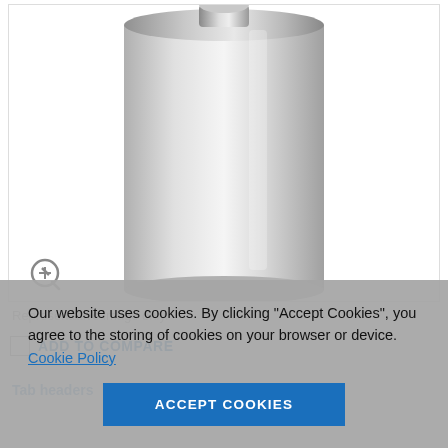[Figure (photo): A stainless steel cylindrical calibration weight or similar metal cylinder product, shown on white background. A zoom/magnify icon is visible at the bottom left of the image frame.]
Representative image only.
ADD TO COMPARE
Tab headers (partially visible)
Our website uses cookies. By clicking “Accept Cookies”, you agree to the storing of cookies on your browser or device. Cookie Policy
ACCEPT COOKIES